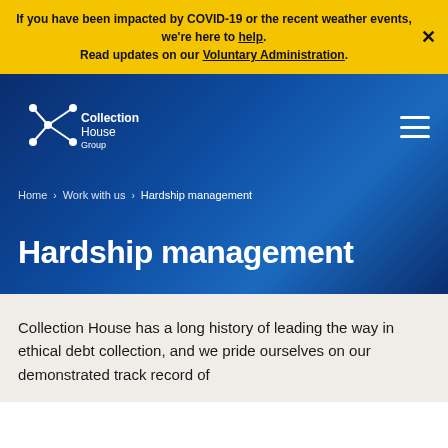If you have been impacted by COVID-19 or the recent weather events, we're here to help. Read updates on our Voluntary Administration.
[Figure (logo): Collection House Group logo — white snowflake/network icon with text 'Collection House Group']
Home > Work with us > Hardship management
Hardship management
Collection House has a long history of leading the way in ethical debt collection, and we pride ourselves on our demonstrated track record of